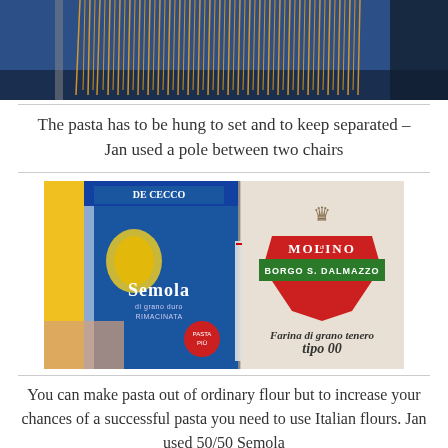[Figure (photo): Photo of yellow pasta strands hanging over a horizontal pole between two chairs, against a blue background]
The pasta has to be hung to set and to keep separated – Jan used a pole between two chairs
[Figure (photo): Photo of two flour bags: De Cecco Semola (blue and yellow bag) on the left and Molino di Borgo S. Dalmazzo Farina di grano tenero tipo 00 (white bag with red/green logo) on the right]
You can make pasta out of ordinary flour but to increase your chances of a successful pasta you need to use Italian flours. Jan used 50/50 Semola